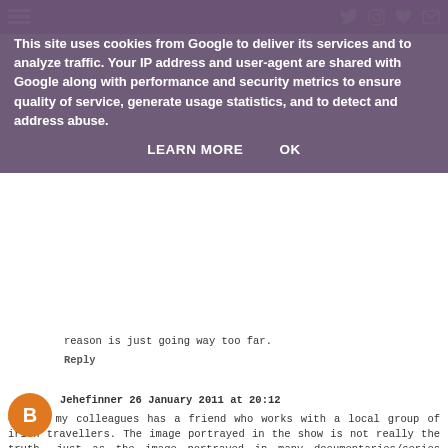This site uses cookies from Google to deliver its services and to analyze traffic. Your IP address and user-agent are shared with Google along with performance and security metrics to ensure quality of service, generate usage statistics, and to detect and address abuse.
LEARN MORE    OK
reason is just going way too far.
Reply
Jehefinner 26 January 2011 at 20:12
One of my colleagues has a friend who works with a local group of irish travellers. The image portrayed in the show is not really the truth, just as the image portrayed in many documentaries/series isn't really the truth (and I know because I have been involved in preliminary talks with several tv producers and newspaper journos about documentaries and articles, and when I won't say or do a certain thing, or act a certain way, or ask for final approval on the edit they stop working with me.) I know, from contact that I have had with these traveller groups that many of the girls don't want to give up school at 11, and want to have jobs, and be financially independent, and be in control of their own lives, but they are stopped from doing so. I know that it's not true that they are all virgins when they get married, and that many traveller wives suffer domestic